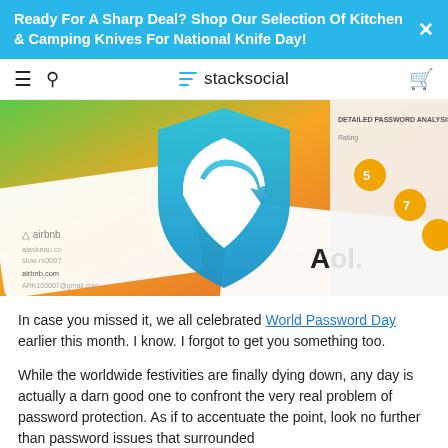Ready For A Sharp Deal? Shop Our Selection Of Kitchen & Camping Knives For National Knife Day!
stacksocial
[Figure (photo): Hero image showing a password manager shield logo (blue-to-teal gradient) overlaid on scattered login cards including Airbnb and AOL, with a password analysis UI on the right side.]
In case you missed it, we all celebrated World Password Day earlier this month. I know. I forgot to get you something too.
While the worldwide festivities are finally dying down, any day is actually a darn good one to confront the very real problem of password protection. As if to accentuate the point, look no further than password issues that surrounded